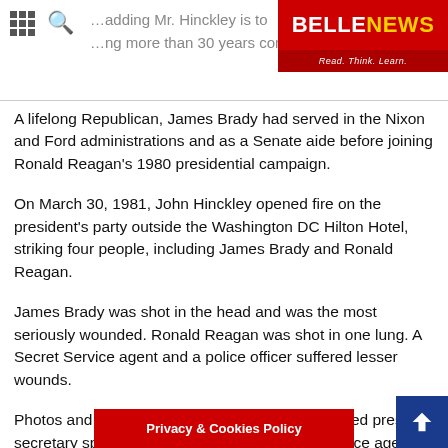BELLENEWS - Read. Think. Learn.
A lifelong Republican, James Brady had served in the Nixon and Ford administrations and as a Senate aide before joining Ronald Reagan's 1980 presidential campaign.
On March 30, 1981, John Hinckley opened fire on the president's party outside the Washington DC Hilton Hotel, striking four people, including James Brady and Ronald Reagan.
James Brady was shot in the head and was the most seriously wounded. Ronald Reagan was shot in one lung. A Secret Service agent and a police officer suffered lesser wounds.
Photos and video of the incident show the wounded press secretary sprawled on the ground as Secret Service agents rushed the president into his vehicle and others wrestled John Hinckley to the ground.
Since the trial John Hinckley has been committed to a Washington DC psychiatric hospital, but has be...ted time at his